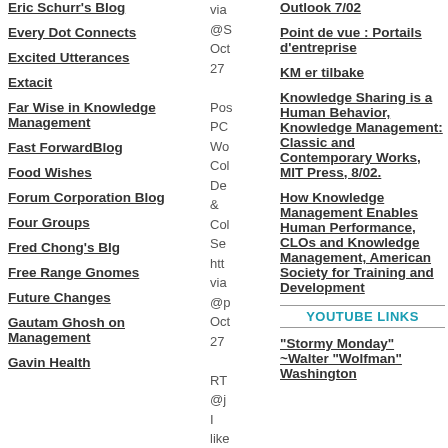Eric Schurr's Blog
Every Dot Connects
Excited Utterances
Extacit
Far Wise in Knowledge Management
Fast ForwardBlog
Food Wishes
Forum Corporation Blog
Four Groups
Fred Chong's Blg
Free Range Gnomes
Future Changes
Gautam Ghosh on Management
Gavin Health
via @S Oct 27 Pos PC Wo Col De & Col Se http via @p Oct 27 RT @j I like @j 's
Outlook 7/02
Point de vue : Portails d'entreprise
KM er tilbake
Knowledge Sharing is a Human Behavior, Knowledge Management: Classic and Contemporary Works, MIT Press, 8/02.
How Knowledge Management Enables Human Performance, CLOs and Knowledge Management, American Society for Training and Development
YOUTUBE LINKS
"Stormy Monday" ~Walter "Wolfman" Washington